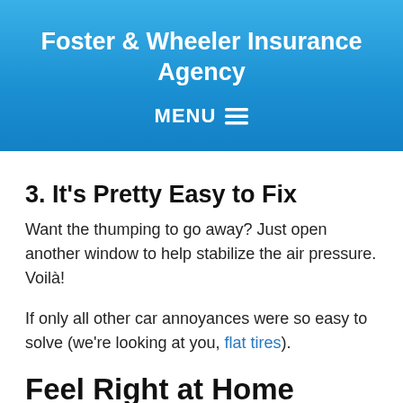Foster & Wheeler Insurance Agency
MENU
3. It’s Pretty Easy to Fix
Want the thumping to go away? Just open another window to help stabilize the air pressure. Voilà!
If only all other car annoyances were so easy to solve (we’re looking at you, flat tires).
Feel Right at Home